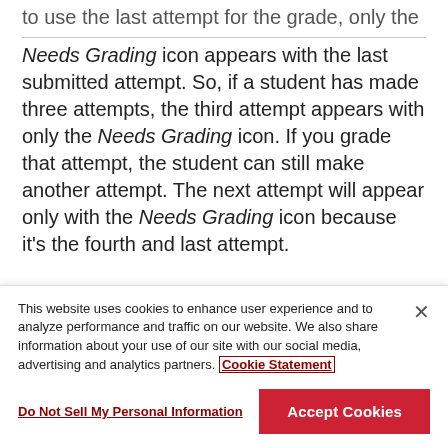to use the last attempt for the grade, only the Needs Grading icon appears with the last submitted attempt. So, if a student has made three attempts, the third attempt appears with only the Needs Grading icon. If you grade that attempt, the student can still make another attempt. The next attempt will appear only with the Needs Grading icon because it's the fourth and last attempt.
This website uses cookies to enhance user experience and to analyze performance and traffic on our website. We also share information about your use of our site with our social media, advertising and analytics partners. Cookie Statement
Do Not Sell My Personal Information
Accept Cookies